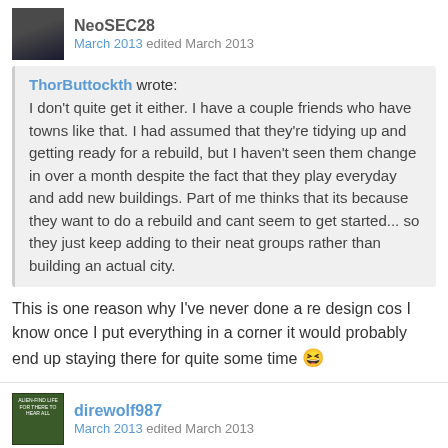[Figure (photo): User avatar - dark silhouette photo]
NeoSEC28
March 2013 edited March 2013
ThorButtockth wrote: I don't quite get it either. I have a couple friends who have towns like that. I had assumed that they're tidying up and getting ready for a rebuild, but I haven't seen them change in over a month despite the fact that they play everyday and add new buildings. Part of me thinks that its because they want to do a rebuild and cant seem to get started... so they just keep adding to their neat groups rather than building an actual city.
This is one reason why I've never done a re design cos I know once I put everything in a corner it would probably end up staying there for quite some time 😆
[Figure (photo): User avatar - green book cover style image]
direwolf987
March 2013 edited March 2013